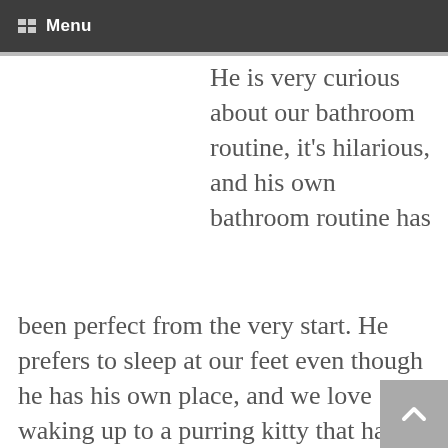Menu
He is very curious about our bathroom routine, it's hilarious, and his own bathroom routine has been perfect from the very start. He prefers to sleep at our feet even though he has his own place, and we love waking up to a purring kitty that has crawled up to our faces to kiss and